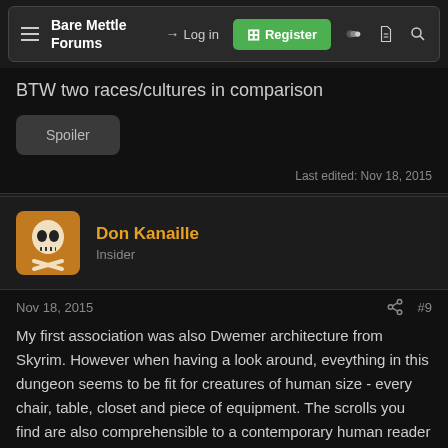Bare Mettle Forums — Log in — Register
BTW two races/cultures in comparison
Spoiler
Last edited: Nov 18, 2015
Don Kanaille
Insider
Nov 18, 2015 #9
My first association was also Dwemer architecture from Skyrim. However when having a look around, eveything in this dungeon seems to be fit for creatures of human size - every chair, table, closet and piece of equipment. The scrolls you find are also comprehensible to a contemporary human reader and grammar as well as choice of words also seems rather modern,